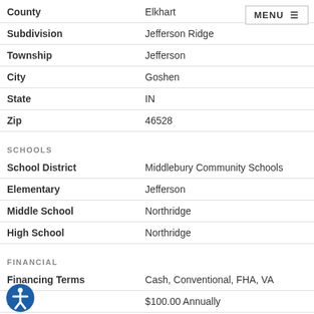| Field | Value |
| --- | --- |
| County | Elkhart |
| Subdivision | Jefferson Ridge |
| Township | Jefferson |
| City | Goshen |
| State | IN |
| Zip | 46528 |
SCHOOLS
| Field | Value |
| --- | --- |
| School District | Middlebury Community Schools |
| Elementary | Jefferson |
| Middle School | Northridge |
| High School | Northridge |
FINANCIAL
| Field | Value |
| --- | --- |
| Financing Terms | Cash, Conventional, FHA, VA |
| Dues | $100.00 Annually |